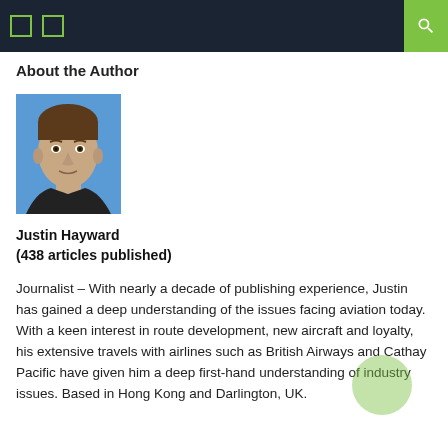About the Author
[Figure (photo): Headshot photo of Justin Hayward, a man in a dark shirt against a blue background]
Justin Hayward
(438 articles published)
Journalist – With nearly a decade of publishing experience, Justin has gained a deep understanding of the issues facing aviation today. With a keen interest in route development, new aircraft and loyalty, his extensive travels with airlines such as British Airways and Cathay Pacific have given him a deep first-hand understanding of industry issues. Based in Hong Kong and Darlington, UK.